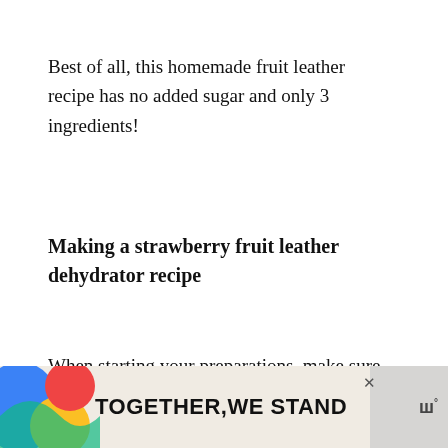Best of all, this homemade fruit leather recipe has no added sugar and only 3 ingredients!
Making a strawberry fruit leather dehydrator recipe
When starting your preparations, make sure to rinse your strawberries, then remove the stems.
Also, I've seen some recipes that don't require cooking down your strawberries. There are two reasons I recommend it.
[Figure (screenshot): UI overlay showing a red heart/save button and a share button]
[Figure (infographic): What's Next card showing Orange Fruit Leather article with thumbnail]
[Figure (infographic): Advertisement banner reading TOGETHER WE STAND with colorful design elements and close button]